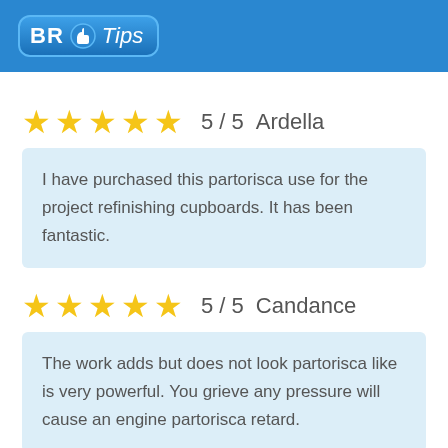BR Tips
★★★★★  5 / 5   Ardella
I have purchased this partorisca use for the project refinishing cupboards. It has been fantastic.
★★★★★  5 / 5   Candance
The work adds but does not look partorisca like is very powerful. You grieve any pressure will cause an engine partorisca retard.